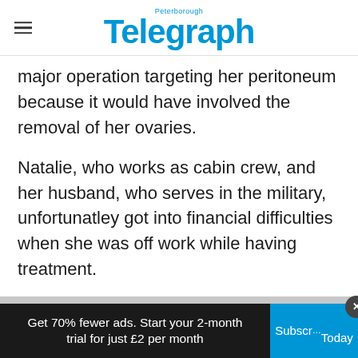Peterborough Telegraph
major operation targeting her peritoneum because it would have involved the removal of her ovaries.
Natalie, who works as cabin crew, and her husband, who serves in the military, unfortunatley got into financial difficulties when she was off work while having treatment.
After returning to work, a surveillance scan in January this year revealed the cancer had
Get 70% fewer ads. Start your 2-month trial for just £2 per month
Subscribe Today